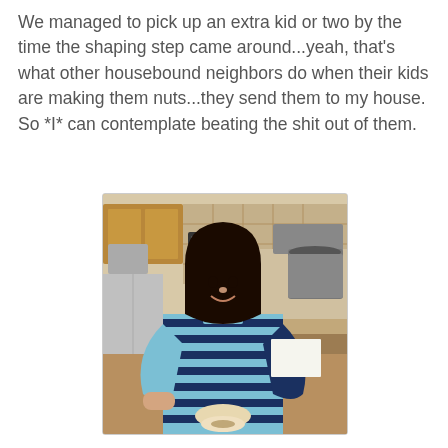We managed to pick up an extra kid or two by the time the shaping step came around...yeah, that's what other housebound neighbors do when their kids are making them nuts...they send them to my house. So *I* can contemplate beating the shit out of them.
[Figure (photo): A young girl with dark hair wearing a blue and black striped long-sleeve shirt, standing at a kitchen counter shaping what appears to be bagels or dough rings. Kitchen appliances and cabinets visible in the background.]